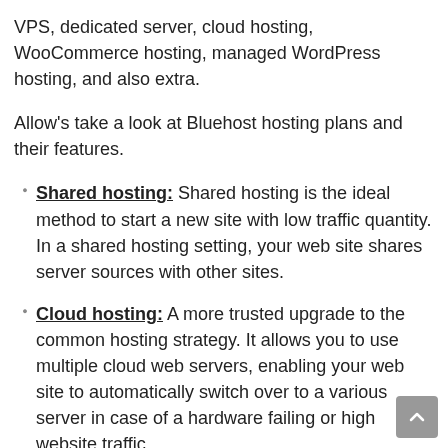VPS, dedicated server, cloud hosting, WooCommerce hosting, managed WordPress hosting, and also extra.
Allow's take a look at Bluehost hosting plans and their features.
Shared hosting: Shared hosting is the ideal method to start a new site with low traffic quantity. In a shared hosting setting, your web site shares server sources with other sites.
Cloud hosting: A more trusted upgrade to the common hosting strategy. It allows you to use multiple cloud web servers, enabling your web site to automatically switch over to a various server in case of a hardware failing or high website traffic.